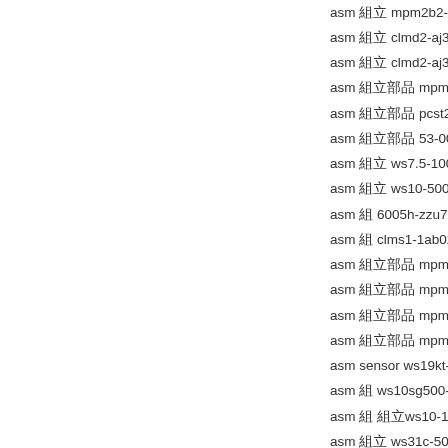asm 組立 mpm2b2-aj3c12p300
asm 組立 clmd2-aj3c8p02350
asm 組立 clmd2-aj3c8p01750
asm 組立部品 mpmib4-3c12p03230
asm 組立部品 pcst24-1550-ssi-kab3m
asm 組立部品 53-00401
asm 組立 ws7.5-10000-pp24vc-syn-
asm 組立 ws10-500-420a-l10-3
asm 組 6005h-zzu76ug22
asm 組 clms1-1ab0215000
asm 組立部品 mpm4b1-aj3cr3c12p 120
asm 組立部品 mpm4b1-aj3cr3c12p 600
asm 組立部品 mpm4b1-aj3cr3c12p 500
asm 組立部品 mpm4b1-aj3cr3c12p 150
asm sensor ws19kt-3000-hssi-m4(
asm 組 ws10sg500-420a-l05-m4-m
asm 組 組立ws10-1000-420t-l10
asm 組立 ws31c-500-r1k-l35
asm 組立部品部品 mpm2b4-3c